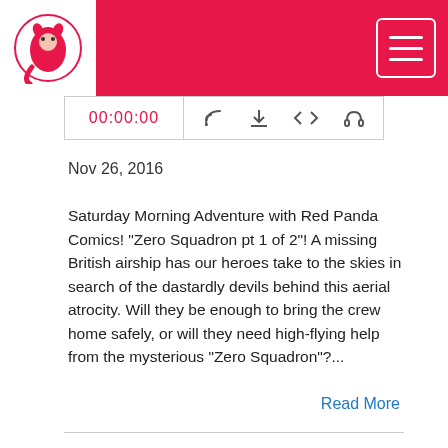Red Panda Comics header with logo and hamburger menu
[Figure (screenshot): Audio player bar showing 00:00:00 timer in red, RSS icon, download icon, embed icon, and headphone icon]
Nov 26, 2016
Saturday Morning Adventure with Red Panda Comics! "Zero Squadron pt 1 of 2"! A missing British airship has our heroes take to the skies in search of the dastardly devils behind this aerial atrocity. Will they be enough to bring the crew home safely, or will they need high-flying help from the mysterious "Zero Squadron"?...
Read More
Night of the Red Panda 08 Monkey See Monkey Do pt 2